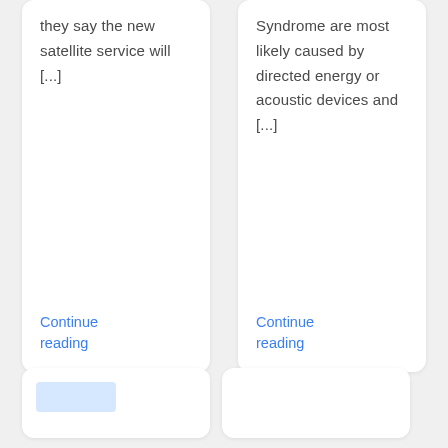they say the new satellite service will [...]
Continue reading
Syndrome are most likely caused by directed energy or acoustic devices and [...]
Continue reading